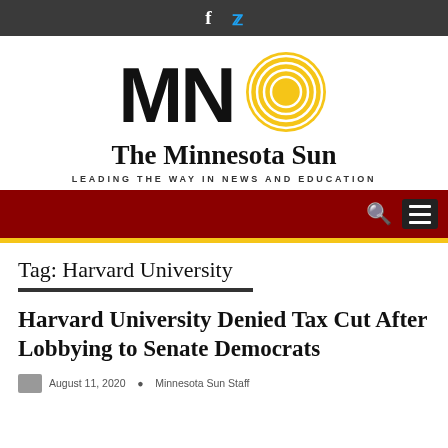[Figure (logo): The Minnesota Sun newspaper logo with bold MN letters and a golden spiral sun graphic, with tagline LEADING THE WAY IN NEWS AND EDUCATION]
Tag: Harvard University
Harvard University Denied Tax Cut After Lobbying to Senate Democrats
August 11, 2020   Minnesota Sun Staff